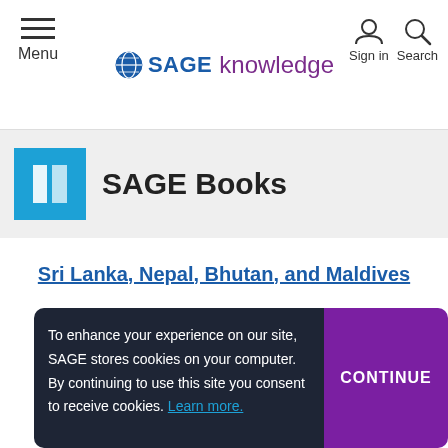Menu | SAGE knowledge | Sign in | Search
SAGE Books
Sri Lanka, Nepal, Bhutan, and Maldives
To enhance your experience on our site, SAGE stores cookies on your computer. By continuing to use this site you consent to receive cookies. Learn more.
CONTINUE